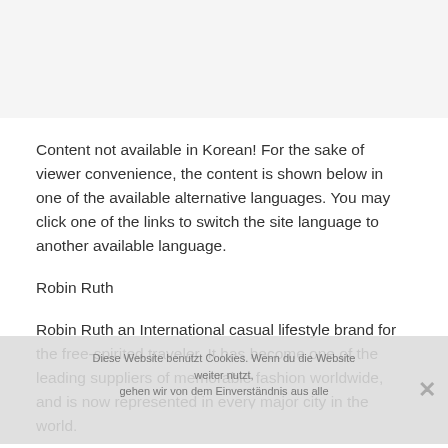Content not available in Korean! For the sake of viewer convenience, the content is shown below in one of the available alternative languages. You may click one of the links to switch the site language to another available language.
Robin Ruth
Robin Ruth an International casual lifestyle brand for the free-spirited traveler. It has become one of the leading suppliers of memorable fashion worldwide, and is now represented in every major city in the world.
Robin Ruth is the name that the founder, Boaz Avrahami, gave to